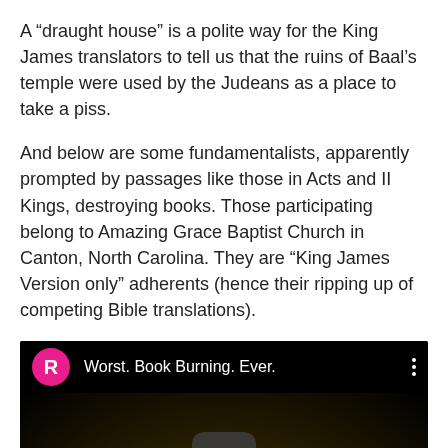A “draught house” is a polite way for the King James translators to tell us that the ruins of Baal’s temple were used by the Judeans as a place to take a piss.
And below are some fundamentalists, apparently prompted by passages like those in Acts and II Kings, destroying books. Those participating belong to Amazing Grace Baptist Church in Canton, North Carolina. They are “King James Version only” adherents (hence their ripping up of competing Bible translations).
[Figure (screenshot): YouTube video thumbnail showing a video titled 'Worst. Book Burning. Ever.' with a pink/magenta circle avatar with letter R, a dark video preview showing what appears to be a book or cloth, and a play button in the center.]